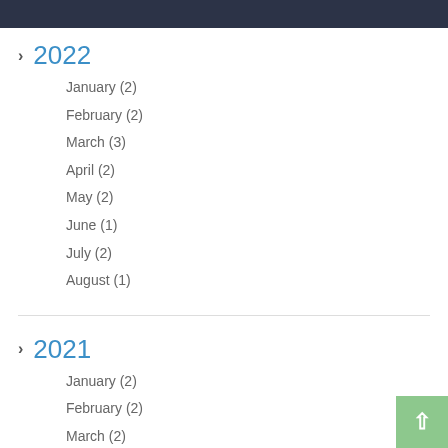2022
January (2)
February (2)
March (3)
April (2)
May (2)
June (1)
July (2)
August (1)
2021
January (2)
February (2)
March (2)